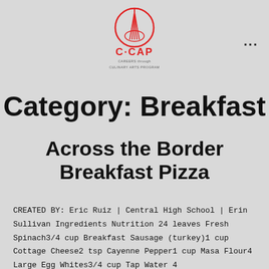[Figure (logo): C·CAP logo — circular whisk icon in red above the text C·CAP in red, and CAREERS through CULINARY ARTS PROGRAM in grey below]
Category: Breakfast
Across the Border Breakfast Pizza
CREATED BY: Eric Ruiz | Central High School | Erin Sullivan Ingredients Nutrition 24 leaves Fresh Spinach3/4 cup Breakfast Sausage (turkey)1 cup Cottage Cheese2 tsp Cayenne Pepper1 cup Masa Flour4 Large Egg Whites3/4 cup Tap Water 4